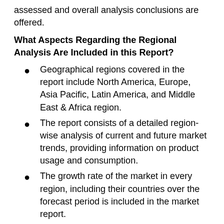assessed and overall analysis conclusions are offered.
What Aspects Regarding the Regional Analysis Are Included in this Report?
Geographical regions covered in the report include North America, Europe, Asia Pacific, Latin America, and Middle East & Africa region.
The report consists of a detailed region-wise analysis of current and future market trends, providing information on product usage and consumption.
The growth rate of the market in every region, including their countries over the forecast period is included in the market report.
What is the Key Information extracted from the Report?
Extensive information on factors estimated to affect the market growth and market share during the forecast period is presented in the report.
The report offers the present scenario and future growth prospects Market in various geographical regions.